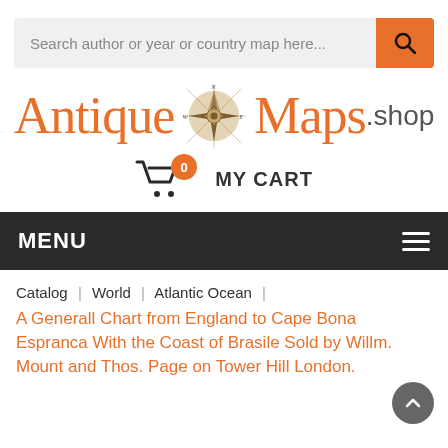[Figure (screenshot): Search bar with placeholder text 'Search author or year or country map here...' and orange search button with magnifying glass icon]
[Figure (logo): Antique Maps .shop logo with compass rose illustration between 'Antique' and 'Maps' text in orange serif font, '.shop' in grey sans-serif]
[Figure (infographic): Shopping cart icon with orange badge showing '0' and 'MY CART' label]
MENU
Catalog  |  World  |  Atlantic Ocean  |
A Generall Chart from England to Cape Bona Espranca With the Coast of Brasile Sold by Willm. Mount and Thos. Page on Tower Hill London.